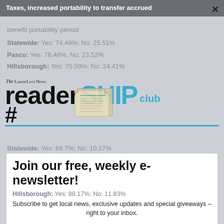Taxes, increased portability to transfer accrued
benefit portability period
Statewide: Yes: 74.49%; No: 25.51%
Pasco: Yes: 76.48%; No: 23.52%
Hillsborough: Yes: 75.59%; No: 24.41%
[Figure (logo): The Laker/Lutz News readerSHIP club logo with newspaper illustration]
Statewide: Yes: 89.7%; No: 10.27%
Pasco: Yes: 90.32%; No: 9.48%
Hillsborough: Yes: 88.17%; No: 11.83%
Join our free, weekly e-newsletter!
Subscribe to get local news, exclusive updates and special giveaways - right to your inbox.
Email
Sources: The Florida Division of Elections, Pasco County Supervisor of Elections and Hillsborough County Supervisor of Elections.